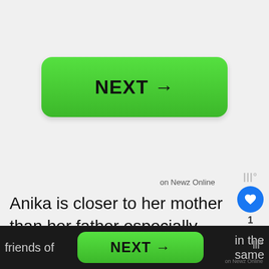[Figure (screenshot): Green NEXT button with arrow in top section of mobile webpage]
on Newz Online
Anika is closer to her mother than her father especially since Neil works so much, according to DeShon. That closeness isn't just constrained to the characters. The who play Grace and Anika have become friends of in the same
[Figure (screenshot): What's Next overlay card showing 'Satisfaction' Interviews]
[Figure (screenshot): Green NEXT button in bottom navigation bar]